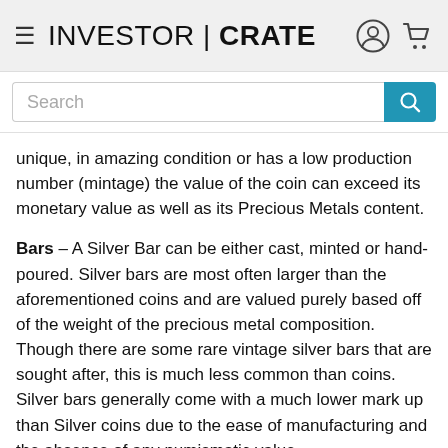INVESTOR | CRATE
unique, in amazing condition or has a low production number (mintage) the value of the coin can exceed its monetary value as well as its Precious Metals content.
Bars – A Silver Bar can be either cast, minted or hand-poured. Silver bars are most often larger than the aforementioned coins and are valued purely based off of the weight of the precious metal composition. Though there are some rare vintage silver bars that are sought after, this is much less common than coins. Silver bars generally come with a much lower mark up than Silver coins due to the ease of manufacturing and the absence of any numismatic value.
Rounds – A Silver Round is nothing more than a round piece